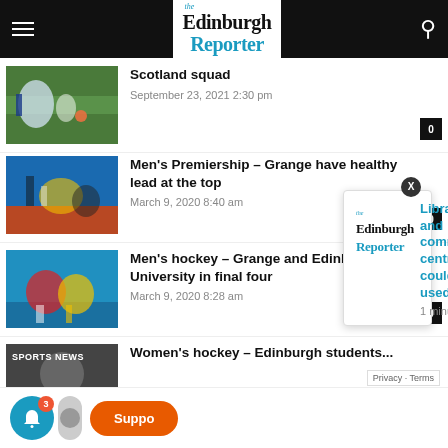the Edinburgh Reporter
Scotland squad
September 23, 2021 2:30 pm
Men's Premiership – Grange have healthy lead at the top
March 9, 2020 8:40 am
Men's hockey – Grange and Edinburgh University in final four
March 9, 2020 8:28 am
Women's hockey – Edinburgh students...
Libraries and community centres could be used to
1 minute ago
Privacy · Terms